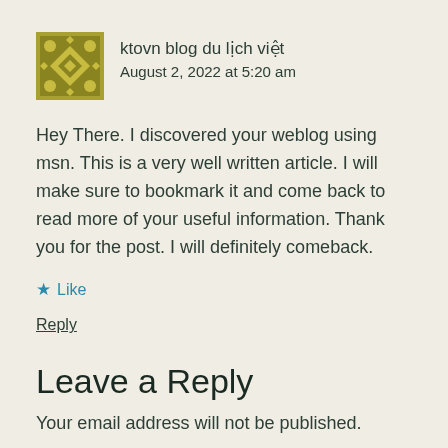ktovn blog du lịch việt
August 2, 2022 at 5:20 am
Hey There. I discovered your weblog using msn. This is a very well written article. I will make sure to bookmark it and come back to read more of your useful information. Thank you for the post. I will definitely comeback.
★ Like
Reply
Leave a Reply
Your email address will not be published.